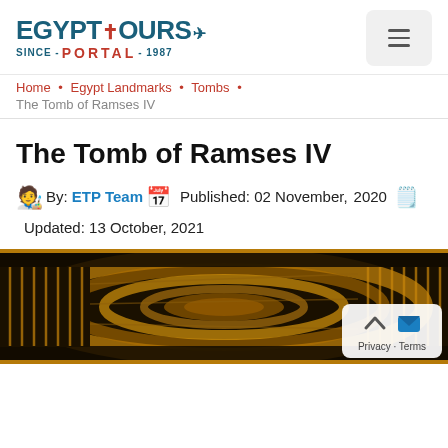[Figure (logo): Egypt Tours Portal logo with ankh symbol and airplane icon, 'SINCE - PORTAL - 1987' text below]
Home • Egypt Landmarks • Tombs • The Tomb of Ramses IV
The Tomb of Ramses IV
By: ETP Team  Published: 02 November, 2020  Updated: 13 October, 2021
[Figure (photo): Ancient Egyptian tomb ceiling/wall with golden and dark painted hieroglyphic decorations and geometric patterns]